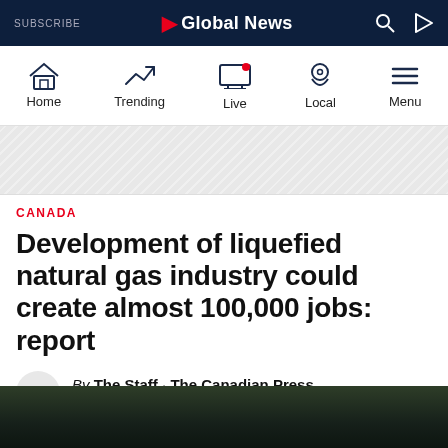SUBSCRIBE | Global News
[Figure (screenshot): Global News website navigation bar with Home, Trending, Live, Local, Menu icons]
[Figure (other): Advertisement banner area with diagonal stripe pattern]
CANADA
Development of liquefied natural gas industry could create almost 100,000 jobs: report
By The Staff · The Canadian Press
Posted July 27, 2020 2:01 pm
[Figure (photo): Outdoor photo at bottom of page showing trees and sky at night/dark conditions]